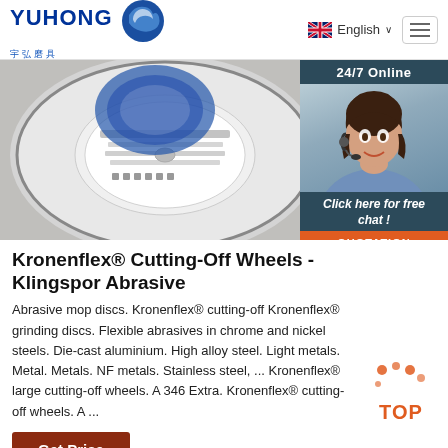YUHONG 宇弘磨具 | English
[Figure (photo): Close-up photo of abrasive cutting-off wheels / grinding discs, grey background with circular wheel label visible]
Kronenflex® Cutting-Off Wheels - Klingspor Abrasive
Abrasive mop discs. Kronenflex® cutting-off Kronenflex® grinding discs. Flexible abrasives in chrome and nickel steels. Die-cast aluminium. High alloy steel. Light metals. Metal. Metals. NF metals. Stainless steel, ... Kronenflex® large cutting-off wheels. A 346 Extra. Kronenflex® cutting-off wheels. A ...
Get Price